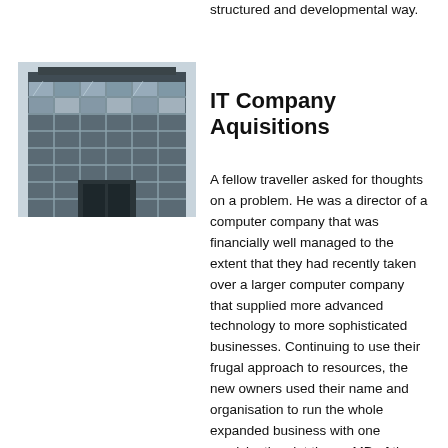to tackle a range of systems problems in a structured and developmental way.
[Figure (photo): Exterior photo of a modern glass-fronted office building with geometric steel frame structure.]
IT Company Aquisitions
A fellow traveller asked for thoughts on a problem. He was a director of a computer company that was financially well managed to the extent that they had recently taken over a larger computer company that supplied more advanced technology to more sophisticated businesses. Continuing to use their frugal approach to resources, the new owners used their name and organisation to run the whole expanded business with one provisio; they let the ex-MD of the bought out company take a seat on their board. But the main preoccupation of the Board was still their original small business and the ex-MD had to try and force his different business issues onto their agenda. He was seen as a disruptive person and he was sacked. His e...